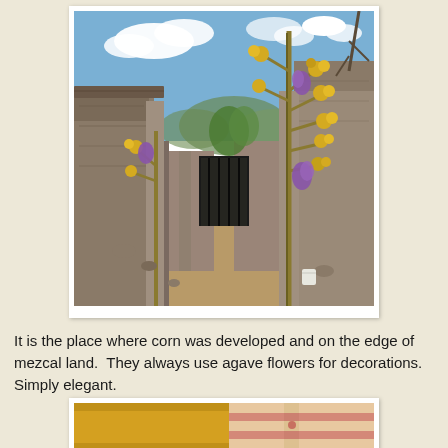[Figure (photo): A village alley or pathway flanked by adobe/mud brick walls leading to a dark gate. Tall agave flower stalks with yellow blooms and purple flowers are attached to the concrete posts on either side of the entrance. Blue sky with clouds in the background.]
It is the place where corn was developed and on the edge of mezcal land.  They always use agave flowers for decorations.  Simply elegant.
[Figure (photo): Partial view of a yellow painted wall or building with pink architectural details, likely a Mexican building facade.]